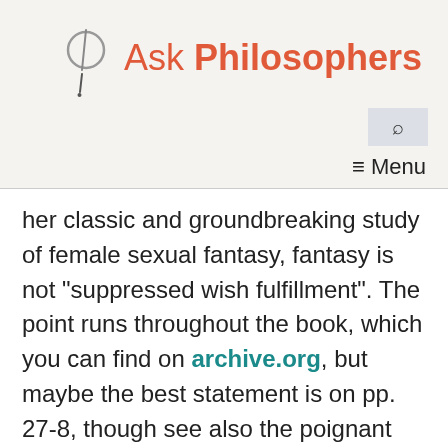Ask Philosophers
her classic and groundbreaking study of female sexual fantasy, fantasy is not "suppressed wish fulfillment". The point runs throughout the book, which you can find on archive.org, but maybe the best statement is on pp. 27-8, though see also the poignant story that opens the book (pp. 5-7). I'd post